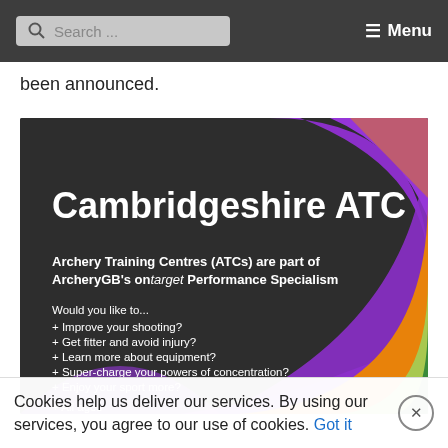Search ... ≡ Menu
been announced.
[Figure (infographic): Cambridgeshire ATC promotional banner. Dark background with colourful concentric arc shapes in purple, orange, light green, and dark green forming a target/bullseye motif. White text reads: 'Cambridgeshire ATC', 'Archery Training Centres (ATCs) are part of ArcheryGB's ontarget Performance Specialism', 'Would you like to...', '+ Improve your shooting?', '+ Get fitter and avoid injury?', '+ Learn more about equipment?', '+ Super-charge your powers of concentration?', '+ Enjoy your sport more?', '+ All ages', '+ All abilities']
Cookies help us deliver our services. By using our services, you agree to our use of cookies. Got it